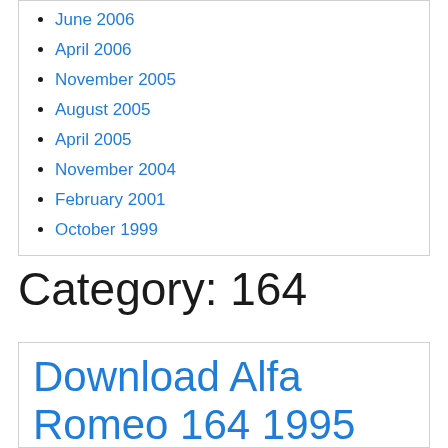June 2006
April 2006
November 2005
August 2005
April 2005
November 2004
February 2001
October 1999
Category: 164
Download Alfa Romeo 164 1995 Factory Service Repair